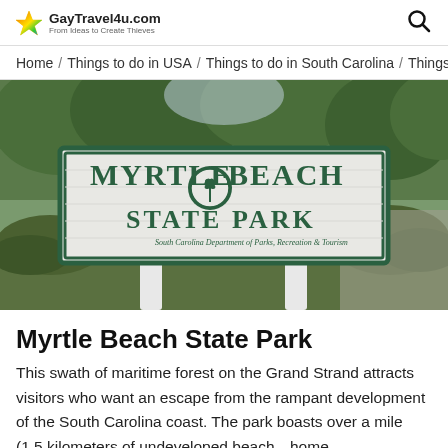GayTravel4u.com
Home / Things to do in USA / Things to do in South Carolina / Things t
[Figure (photo): Entrance sign for Myrtle Beach State Park showing the park name in large dark green letters on a white wooden sign with a palmetto tree logo, surrounded by trees and greenery.]
Myrtle Beach State Park
This swath of maritime forest on the Grand Strand attracts visitors who want an escape from the rampant development of the South Carolina coast. The park boasts over a mile (1.5 kilometers of undeveloped beach—home